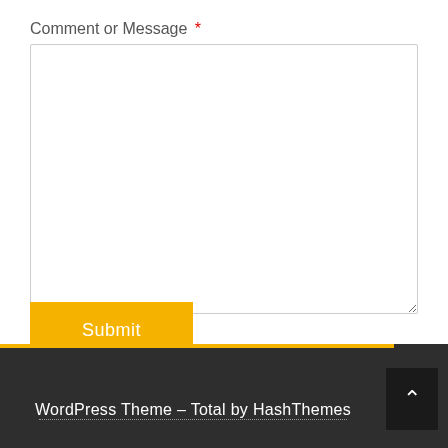Comment or Message *
[Figure (screenshot): Large textarea input box for comment or message entry]
Submit
WordPress Theme - Total by HashThemes